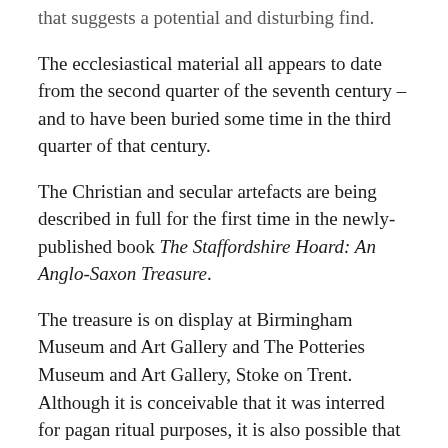that suggests a potential and disturbing find.
The ecclesiastical material all appears to date from the second quarter of the seventh century – and to have been buried some time in the third quarter of that century.
The Christian and secular artefacts are being described in full for the first time in the newly-published book The Staffordshire Hoard: An Anglo-Saxon Treasure.
The treasure is on display at Birmingham Museum and Art Gallery and The Potteries Museum and Art Gallery, Stoke on Trent. Although it is conceivable that it was interred for pagan ritual purposes, it is also possible that it was buried for safekeeping – and that its owners never returned to retrieve it.
The research into the Staffordshire Hoard has been funded by Historic England.